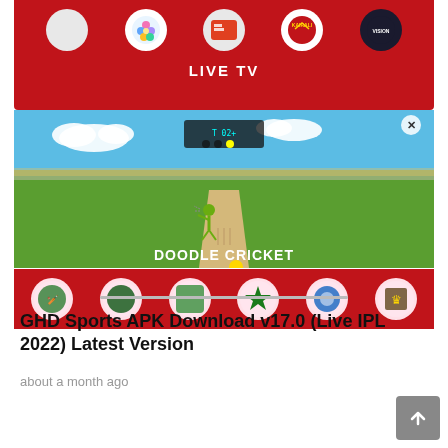[Figure (screenshot): Screenshot of GHD Sports app showing LIVE TV section with channel logos (Flowers, Kairali, Vision etc.) at top in red, a Doodle Cricket game in the middle with blue sky and green field, and team logo icons at the bottom in red banner.]
GHD Sports APK Download v17.0 (Live IPL 2022) Latest Version
about a month ago